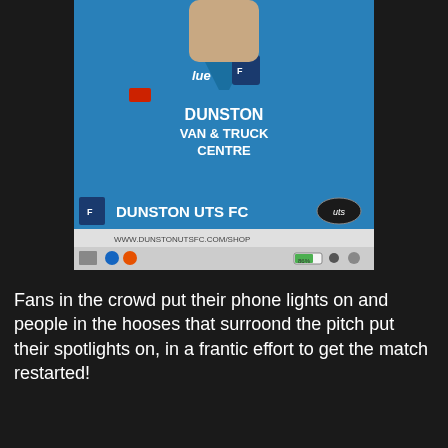[Figure (photo): A screenshot of a football player wearing a blue Dunston UTS FC kit with 'DUNSTON VAN & TRUCK CENTRE' sponsor text on the chest. The bottom of the screenshot shows 'DUNSTON UTS FC' branding bar and a partial URL www.dunstonutsfc.com/shop, along with browser taskbar elements at 86% zoom.]
Fans in the crowd put their phone lights on and people in the hooses that surroond the pitch put their spotlights on, in a frantic effort to get the match restarted!